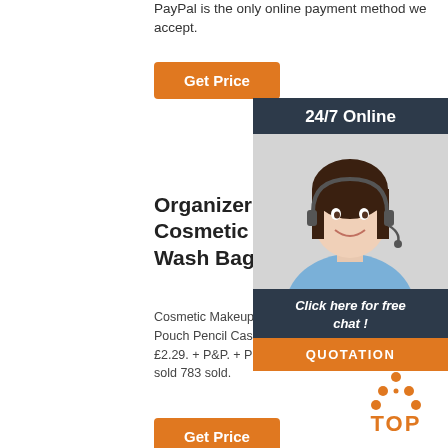PayPal is the only online payment method we accept.
Get Price
[Figure (infographic): 24/7 Online support panel with photo of female customer service agent wearing headset, 'Click here for free chat!' text, and QUOTATION button]
Organizer Pouch Cosmetic Makeup Purse Wash Bag P
Cosmetic Makeup Purse Wash Organizer Pouch Pencil Case Waterproof Toiletry. £2.29. + P&P. + P&P + P&P. 783 sold. 783 sold 783 sold.
Get Price
[Figure (logo): TOP logo with orange dots arranged in triangle above bold orange TOP text]